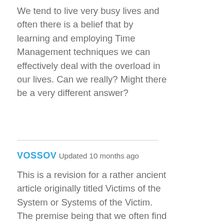We tend to live very busy lives and often there is a belief that by learning and employing Time Management techniques we can effectively deal with the overload in our lives. Can we really? Might there be a very different answer?
VOSSOV Updated 10 months ago
This is a revision for a rather ancient article originally titled Victims of the System or Systems of the Victim. The premise being that we often find ourselves in situations where we perceive that we are the victims